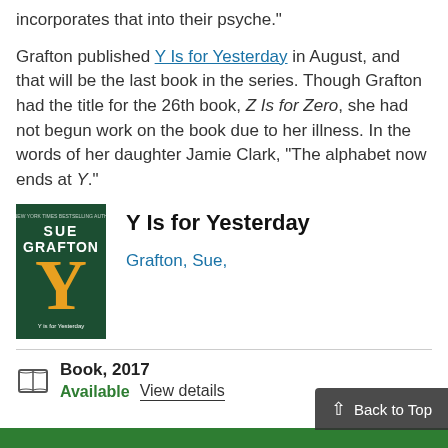incorporates that into their psyche."
Grafton published Y Is for Yesterday in August, and that will be the last book in the series. Though Grafton had the title for the 26th book, Z Is for Zero, she had not begun work on the book due to her illness. In the words of her daughter Jamie Clark, "The alphabet now ends at Y."
[Figure (photo): Book cover of 'Y Is for Yesterday' by Sue Grafton, featuring a large yellow letter Y on a dark green background]
Y Is for Yesterday
Grafton, Sue,
Book, 2017
Available   View details